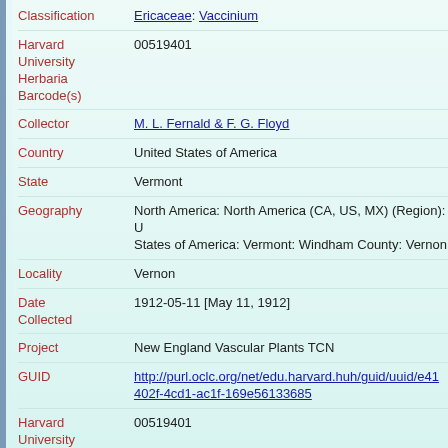| Field | Value |
| --- | --- |
| Classification | Ericaceae: Vaccinium |
| Harvard University Herbaria Barcode(s) | 00519401 |
| Collector | M. L. Fernald & F. G. Floyd |
| Country | United States of America |
| State | Vermont |
| Geography | North America: North America (CA, US, MX) (Region): United States of America: Vermont: Windham County: Vernon |
| Locality | Vernon |
| Date Collected | 1912-05-11 [May 11, 1912] |
| Project | New England Vascular Plants TCN |
| GUID | http://purl.oclc.org/net/edu.harvard.huh/guid/uuid/e41402f-4cd1-ac1f-169e56133685 |
| Harvard University Herbaria Barcode | 00519401 |
| Herbarium | NEBC |
| Family | Ericaceae |